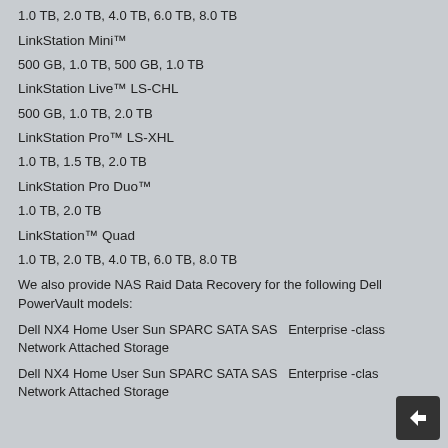1.0 TB, 2.0 TB, 4.0 TB, 6.0 TB, 8.0 TB
LinkStation Mini™
500 GB, 1.0 TB, 500 GB, 1.0 TB
LinkStation Live™ LS-CHL
500 GB, 1.0 TB, 2.0 TB
LinkStation Pro™ LS-XHL
1.0 TB, 1.5 TB, 2.0 TB
LinkStation Pro Duo™
1.0 TB, 2.0 TB
LinkStation™ Quad
1.0 TB, 2.0 TB, 4.0 TB, 6.0 TB, 8.0 TB
We also provide NAS Raid Data Recovery for the following Dell PowerVault models:
Dell NX4 Home User Sun SPARC SATA SAS   Enterprise -class Network Attached Storage
Dell NX4 Home User Sun SPARC SATA SAS   Enterprise -class Network Attached Storage